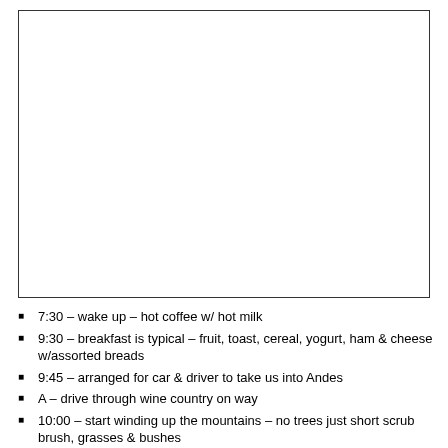[Figure (photo): Large empty/blank image placeholder box with a rectangular border]
7:30 – wake up – hot coffee w/ hot milk
9:30 – breakfast is typical – fruit, toast, cereal, yogurt, ham & cheese w/assorted breads
9:45 – arranged for car & driver to take us into Andes
A – drive through wine country on way
10:00 – start winding up the mountains – no trees just short scrub brush, grasses & bushes